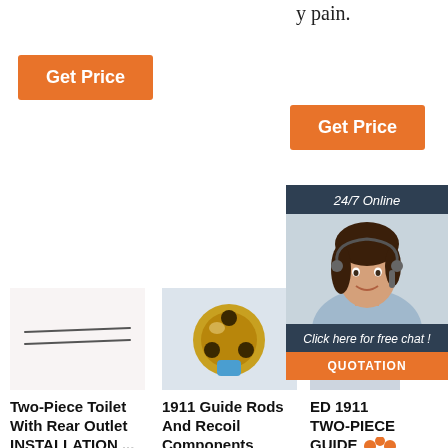y pain.
[Figure (other): Orange 'Get Price' button (top left)]
[Figure (other): Orange 'Get Price' button (top right)]
[Figure (other): 24/7 Online chat panel with agent photo and QUOTATION button]
[Figure (photo): Product image: two thin rods/needles on white background (Two-Piece Toilet With Rear Outlet INSTALLATION)]
Two-Piece Toilet With Rear Outlet INSTALLATION ...
2021-6-19u2002...
[Figure (photo): Product image: golden/bronze PDC drill bit on light background (1911 Guide Rods And Recoil Components)]
1911 Guide Rods And Recoil Components
EGW 1911 Guid e Rod- El Cover...
[Figure (photo): Partial product image (ED 1911 TWO-PIECE GUIDE ROD)]
ED 1911 TWO-PIECE GUIDE ROD
Two Piece Guide Rod fits Govt...